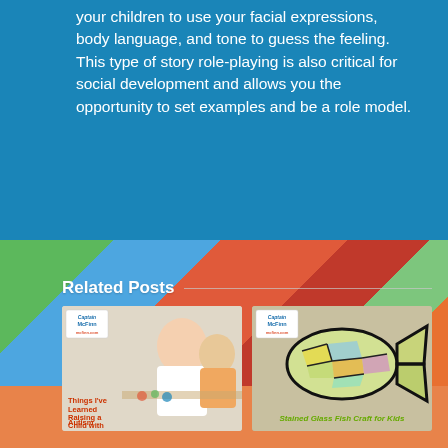your children to use your facial expressions, body language, and tone to guess the feeling. This type of story role-playing is also critical for social development and allows you the opportunity to set examples and be a role model.
Related Posts
[Figure (photo): Thumbnail image: woman and toddler doing crafts together, with Captain McFinn logo and text 'Things I've Learned Raising a Child with Autism']
[Figure (photo): Thumbnail image: stained glass fish craft artwork, with Captain McFinn logo and label 'Stained Glass Fish Craft for Kids']